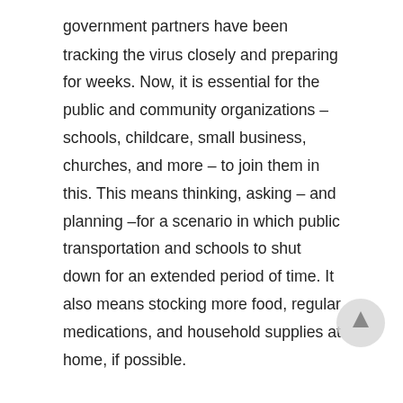government partners have been tracking the virus closely and preparing for weeks. Now, it is essential for the public and community organizations – schools, childcare, small business, churches, and more – to join them in this. This means thinking, asking – and planning –for a scenario in which public transportation and schools to shut down for an extended period of time. It also means stocking more food, regular medications, and household supplies at home, if possible.